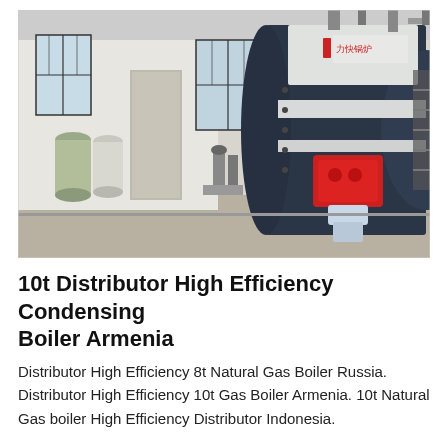[Figure (photo): Industrial boiler room with a large horizontal cylindrical gas boiler (dark navy and white) with a red burner unit on the front face, Chinese characters on top panel, yellow gas pipes, water treatment tanks (green/white cylinders) on the left, windows in background, and various pumps and equipment.]
10t Distributor High Efficiency Condensing Boiler Armenia
Distributor High Efficiency 8t Natural Gas Boiler Russia. Distributor High Efficiency 10t Gas Boiler Armenia. 10t Natural Gas boiler High Efficiency Distributor Indonesia.